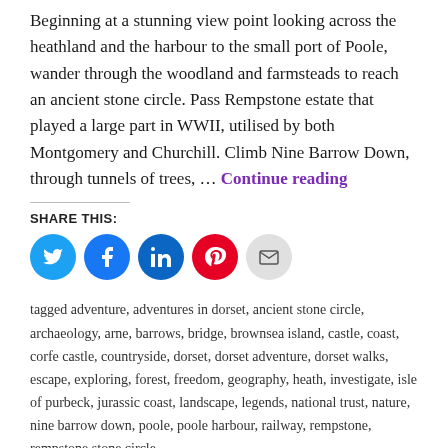Beginning at a stunning view point looking across the heathland and the harbour to the small port of Poole, wander through the woodland and farmsteads to reach an ancient stone circle. Pass Rempstone estate that played a large part in WWII, utilised by both Montgomery and Churchill. Climb Nine Barrow Down, through tunnels of trees, … Continue reading
SHARE THIS:
[Figure (infographic): Five social share buttons: Twitter (blue), Facebook (blue), LinkedIn (dark blue), Pinterest (red), Email (light grey)]
tagged adventure, adventures in dorset, ancient stone circle, archaeology, arne, barrows, bridge, brownsea island, castle, coast, corfe castle, countryside, dorset, dorset adventure, dorset walks, escape, exploring, forest, freedom, geography, heath, investigate, isle of purbeck, jurassic coast, landscape, legends, national trust, nature, nine barrow down, poole, poole harbour, railway, rempstone, rempstone stone circle,